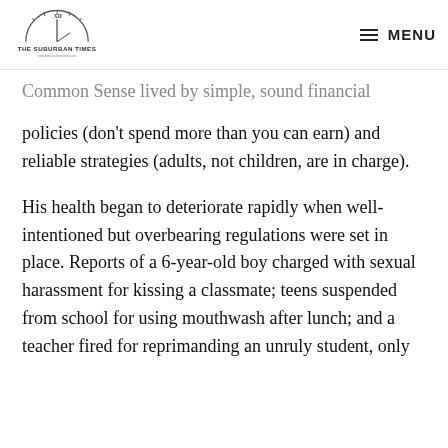THE SUBURBAN TIMES — MENU
Common Sense lived by simple, sound financial policies (don't spend more than you can earn) and reliable strategies (adults, not children, are in charge).
His health began to deteriorate rapidly when well-intentioned but overbearing regulations were set in place. Reports of a 6-year-old boy charged with sexual harassment for kissing a classmate; teens suspended from school for using mouthwash after lunch; and a teacher fired for reprimanding an unruly student, only